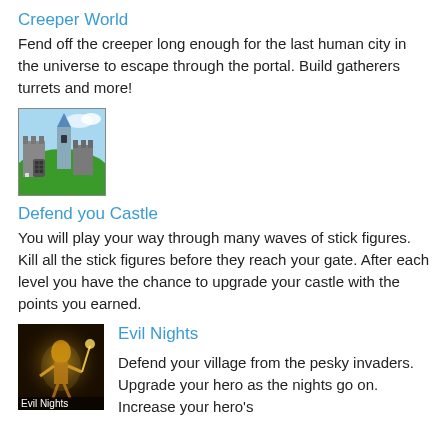Creeper World
Fend off the creeper long enough for the last human city in the universe to escape through the portal.  Build gatherers turrets and more!
[Figure (illustration): Pixel art game screenshot showing a medieval castle with gray stone towers on a green hill, blue sky background with white clouds, and a blue wizard tower.]
Defend you Castle
You will play your way through many waves of stick figures.  Kill all the stick figures before they reach your gate.  After each level you have the chance to upgrade your castle with the points you earned.
[Figure (illustration): Game thumbnail for Evil Nights showing a glowing fantasy warrior character against a dark background, with label 'Evil Nights' at the bottom.]
Evil Nights
Defend your village from the pesky invaders.  Upgrade your hero as the nights go on.  Increase your hero's